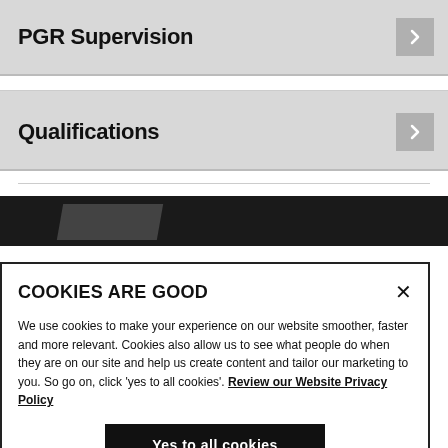PGR Supervision
Qualifications
[Figure (screenshot): Dark banner/image strip visible behind cookie overlay]
COOKIES ARE GOOD
We use cookies to make your experience on our website smoother, faster and more relevant. Cookies also allow us to see what people do when they are on our site and help us create content and tailor our marketing to you. So go on, click 'yes to all cookies'. Review our Website Privacy Policy
Yes to all cookies